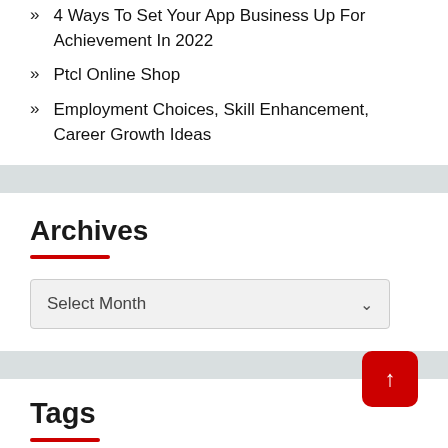4 Ways To Set Your App Business Up For Achievement In 2022
Ptcl Online Shop
Employment Choices, Skill Enhancement, Career Growth Ideas
Archives
Select Month
Tags